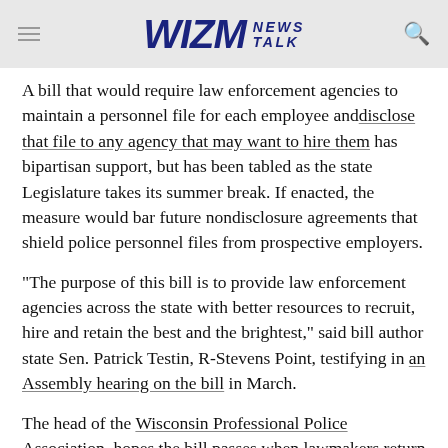WIZM NEWS TALK
A bill that would require law enforcement agencies to maintain a personnel file for each employee and disclose that file to any agency that may want to hire them has bipartisan support, but has been tabled as the state Legislature takes its summer break. If enacted, the measure would bar future nondisclosure agreements that shield police personnel files from prospective employers.
“The purpose of this bill is to provide law enforcement agencies across the state with better resources to recruit, hire and retain the best and the brightest,” said bill author state Sen. Patrick Testin, R-Stevens Point, testifying in an Assembly hearing on the bill in March.
The head of the Wisconsin Professional Police Association, hopes the bill passes when lawmakers return in September.